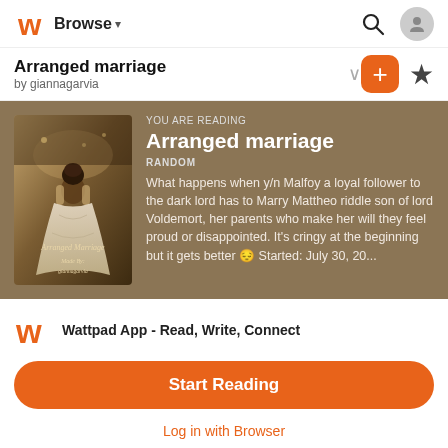Browse
Arranged marriage by giannagarvia
[Figure (illustration): Story card with book cover of 'Arranged Marriage' showing a woman in a wedding dress from behind, with golden/brown tones. Card has olive/brown background with story information.]
YOU ARE READING
Arranged marriage
RANDOM
What happens when y/n Malfoy a loyal follower to the dark lord has to Marry Mattheo riddle son of lord Voldemort, her parents who make her will they feel proud or disappointed. It's cringy at the beginning but it gets better 😔 Started: July 30, 20...
Wattpad App - Read, Write, Connect
Start Reading
Log in with Browser